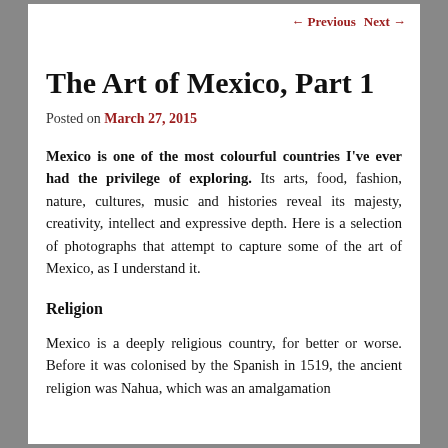← Previous   Next →
The Art of Mexico, Part 1
Posted on March 27, 2015
Mexico is one of the most colourful countries I've ever had the privilege of exploring. Its arts, food, fashion, nature, cultures, music and histories reveal its majesty, creativity, intellect and expressive depth. Here is a selection of photographs that attempt to capture some of the art of Mexico, as I understand it.
Religion
Mexico is a deeply religious country, for better or worse. Before it was colonised by the Spanish in 1519, the ancient religion was Nahua, which was an amalgamation